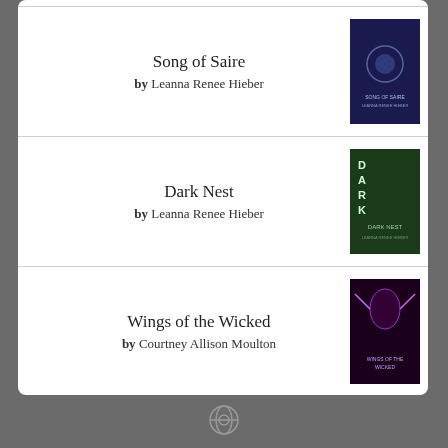Song of Saire by Leanna Renee Hieber
Dark Nest by Leanna Renee Hieber
Wings of the Wicked by Courtney Allison Moulton
Shadows in the Silence by Courtney Allison Moulton
[Figure (logo): Goodreads logo in a rounded rectangle box]
[Figure (logo): WordPress footer logo icon]